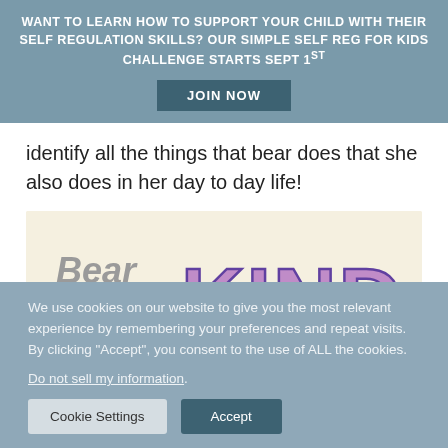WANT TO LEARN HOW TO SUPPORT YOUR CHILD WITH THEIR SELF REGULATION SKILLS? OUR SIMPLE SELF REG FOR KIDS CHALLENGE STARTS SEPT 1ST
JOIN NOW
identify all the things that bear does that she also does in her day to day life!
[Figure (illustration): Book cover showing 'Bear feels KIND' text with large purple lettered KIND and a bear illustration on a cream background]
We use cookies on our website to give you the most relevant experience by remembering your preferences and repeat visits. By clicking "Accept", you consent to the use of ALL the cookies.
Do not sell my information.
Cookie Settings
Accept